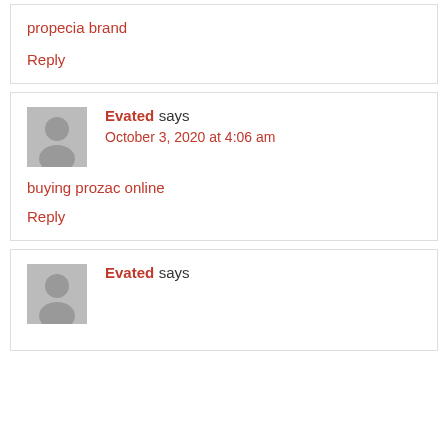propecia brand
Reply
Evated says
October 3, 2020 at 4:06 am
buying prozac online
Reply
Evated says